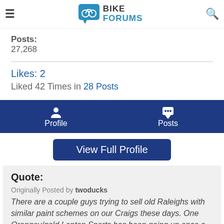Bike Forums
Posts:
27,268
Likes: 2
Liked 42 Times in 28 Posts
[Figure (screenshot): Navigation bar with Profile and Posts icons on dark blue background]
View Full Profile
Quote:
Originally Posted by twoducks
There are a couple guys trying to sell old Raleighs with similar paint schemes on our Craigs these days. One Orangey/gold Lenton Sports has been going up once a week for about 3 months now:
https://toronto.on.craigslist.ca/tor/bik/1615280807.html